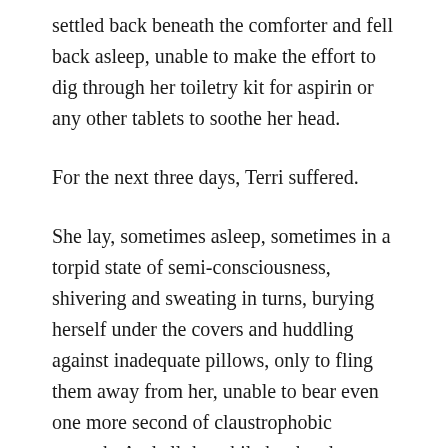settled back beneath the comforter and fell back asleep, unable to make the effort to dig through her toiletry kit for aspirin or any other tablets to soothe her head.
For the next three days, Terri suffered.
She lay, sometimes asleep, sometimes in a torpid state of semi-consciousness, shivering and sweating in turns, burying herself under the covers and huddling against inadequate pillows, only to fling them away from her, unable to bear even one more second of claustrophobic warmth. And all the while her head throbbed with an insistent and painful reminder that she was, indeed, still alive. Sometime in the early afternoon of her second day in Vienna, Terri got up and filled a large glass of water from the bathroom faucet and downed it quickly.